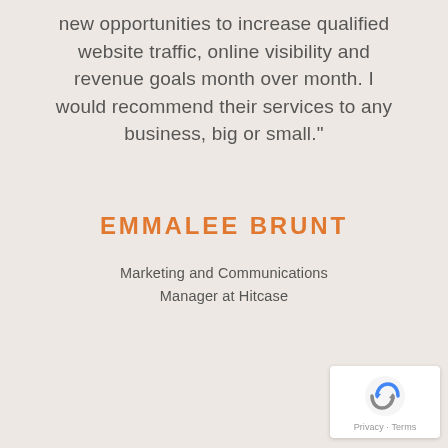new opportunities to increase qualified website traffic, online visibility and revenue goals month over month. I would recommend their services to any business, big or small."
EMMALEE BRUNT
Marketing and Communications Manager at Hitcase
[Figure (logo): reCAPTCHA badge with Google logo and Privacy - Terms text]